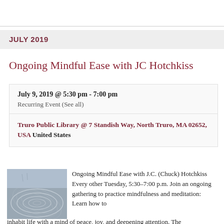JULY 2019
Ongoing Mindful Ease with JC Hotchkiss
July 9, 2019 @ 5:30 pm - 7:00 pm
Recurring Event (See all)
Truro Public Library @ 7 Standish Way, North Truro, MA 02652, USA United States
[Figure (photo): Aerial or ground-level photo of circular patterns drawn in sand or shallow water, light grey and blue tones]
Ongoing Mindful Ease with J.C. (Chuck) Hotchkiss Every other Tuesday, 5:30–7:00 p.m. Join an ongoing gathering to practice mindfulness and meditation:  Learn how to inhabit life with a mind of peace, joy, and deepening attention. The